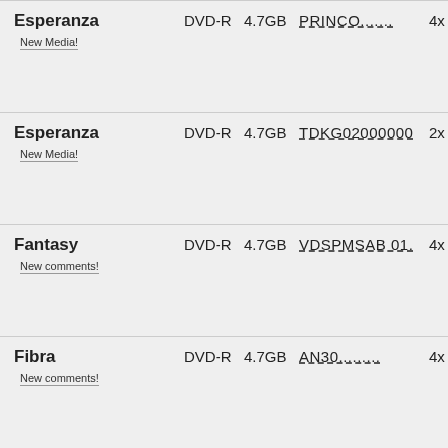Esperanza DVD-R 4.7GB PRINCO....... 4x New Media!
Esperanza DVD-R 4.7GB TDKG02000000 2x New Media!
Fantasy DVD-R 4.7GB VDSPMSAB 01. 4x New comments!
Fibra DVD-R 4.7GB AN30......... 4x New comments!